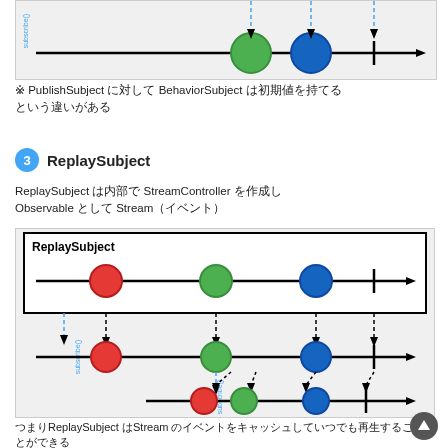[Figure (diagram): Top portion of a marble diagram showing PublishSubject/BehaviorSubject with green and blue circles on a timeline with arrows]
※ PublishSubject に対して BehaviorSubject は初期値を持てる
3 ReplaySubject
ReplaySubject は内部で StreamController を作成し
Observable として Stream（イベント）
[Figure (diagram): ReplaySubject marble diagram showing three timelines: source with red, green, blue circles; first subscriber timeline with replayed events; second subscriber joining later receiving all buffered events]
つまりReplaySubject はStream のイベントをキャッシュしていつでも再生することができる